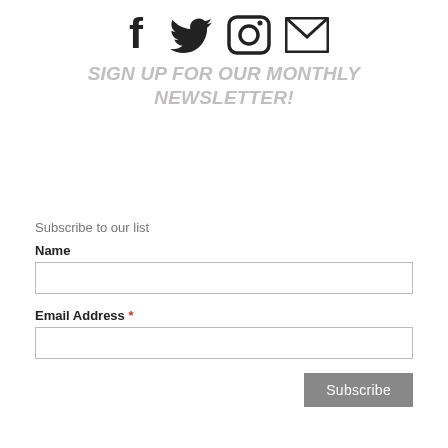[Figure (other): Social media icons row: Facebook, Twitter, Instagram, Email/envelope icons in dark gray/black]
SIGN UP FOR OUR MONTHLY NEWSLETTER!
Subscribe to our list
Name
Email Address *
Subscribe